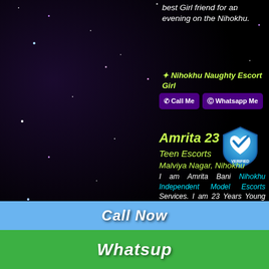best Girl friend for an evening on the Nihokhu.
🌟 Nihokhu Naughty Escort Girl
Call Me   Whatsapp Me
Amrita 23
Teen Escorts
Malviya Nagar, Nihokhu
I am Amrita Bani Nihokhu Independent Model Escorts Services. I am 23 Years Young Girl in Nihokhu . My height is 5.6 inch. I am slim tall good looking Escorts in Nihokhu . My stats are 34D-27-36. I have cute looks with a sexy figure, long sexy legs shine black hair. Deep Black Eyes. I am working here as Nihokhu Escort. My fairy glowing
Call Now
Whatsup